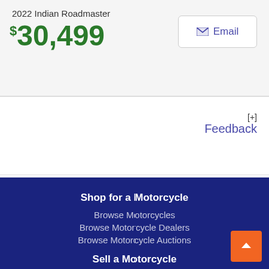2022 Indian Roadmaster
$30,499
Email
[+]
Feedback
Shop for a Motorcycle
Browse Motorcycles
Browse Motorcycle Dealers
Browse Motorcycle Auctions
Sell a Motorcycle
Sell My Motorcycle
Motorcycle Research
Research Motorcycles
Motorcycle Articles
Motorcycle Resources
Motorcycle Events